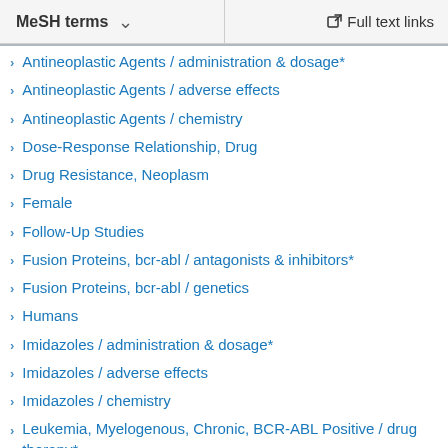MeSH terms    ∨    Full text links
Antineoplastic Agents / administration & dosage*
Antineoplastic Agents / adverse effects
Antineoplastic Agents / chemistry
Dose-Response Relationship, Drug
Drug Resistance, Neoplasm
Female
Follow-Up Studies
Fusion Proteins, bcr-abl / antagonists & inhibitors*
Fusion Proteins, bcr-abl / genetics
Humans
Imidazoles / administration & dosage*
Imidazoles / adverse effects
Imidazoles / chemistry
Leukemia, Myelogenous, Chronic, BCR-ABL Positive / drug therapy*
Leukemia, Myelogenous, Chronic, BCR-ABL Positive / genetics
Lipase / blood